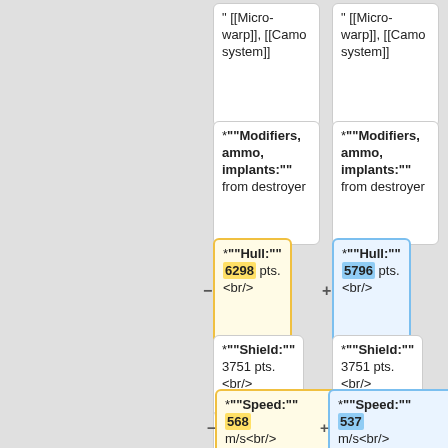" [[Micro-warp]], [[Camo system]]
" [[Micro-warp]], [[Camo system]]
*""Modifiers, ammo, implants:"" from destroyer
*""Modifiers, ammo, implants:"" from destroyer
*""Hull:"" 6298 pts. <br/>
*""Hull:"" 5796 pts. <br/>
*""Shield:"" 3751 pts. <br/>
*""Shield:"" 3751 pts. <br/>
*""Energy:"" 322 en. <br/>
*""Energy:"" 322 en. <br/>
*""Speed:"" 568 m/s<br/>
*""Speed:"" 537 m/s<br/>